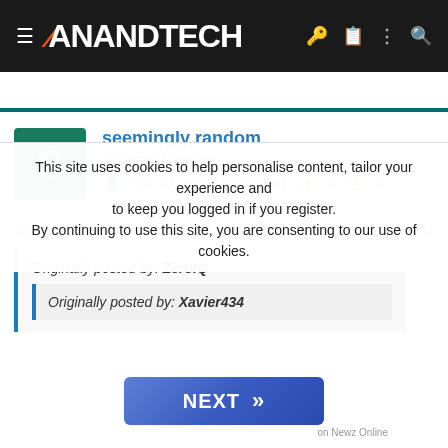AnandTech
seemingly random
Diamond Member
Oct 10, 2007   5,281   0   0
Oct 24, 2008   #62
Originally posted by: ZeroIQ
Originally posted by: Xavier434
This site uses cookies to help personalise content, tailor your experience and to keep you logged in if you register.
By continuing to use this site, you are consenting to our use of cookies.
NEXT